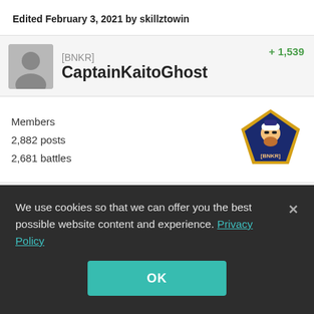Edited February 3, 2021 by skillztowin
[BNKR] CaptainKaitoGhost   +1,539
Members
2,882 posts
2,681 battles
Posted February 3, 2021   #21
We use cookies so that we can offer you the best possible website content and experience. Privacy Policy
OK